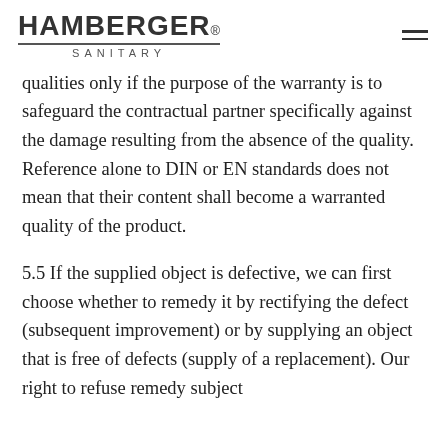HAMBERGER® SANITARY
qualities only if the purpose of the warranty is to safeguard the contractual partner specifically against the damage resulting from the absence of the quality. Reference alone to DIN or EN standards does not mean that their content shall become a warranted quality of the product.
5.5 If the supplied object is defective, we can first choose whether to remedy it by rectifying the defect (subsequent improvement) or by supplying an object that is free of defects (supply of a replacement). Our right to refuse remedy subject